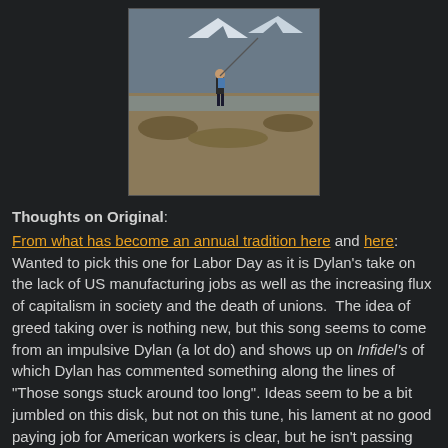[Figure (photo): Person standing outdoors in a natural landscape with mountains and snow in the background, wearing a blue backpack.]
Thoughts on Original:
From what has become an annual tradition here and here: Wanted to pick this one for Labor Day as it is Dylan's take on the lack of US manufacturing jobs as well as the increasing flux of capitalism in society and the death of unions.  The idea of greed taking over is nothing new, but this song seems to come from an impulsive Dylan (a lot do) and shows up on Infidel's of which Dylan has commented something along the lines of "Those songs stuck around too long". Ideas seem to be a bit jumbled on this disk, but not on this tune, his lament at no good paying job for American workers is clear, but he isn't passing the buck.  It is all of HIS products that are foreign made, this isn't a plea for change as a younger Dylan might have done; it is a simple statement of fact...and a sad one at that.  Having grown up in a extremely pro-Labor house hold I just wanted to point this